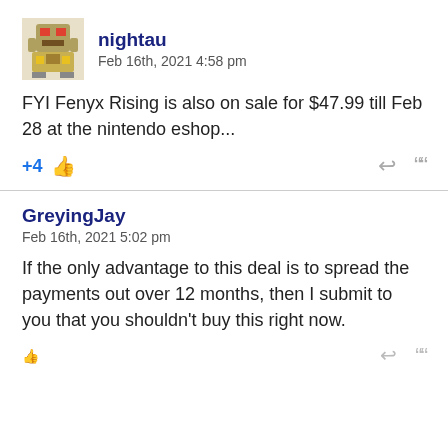[Figure (photo): User avatar for nightau — pixel art style game character icon]
nightau
Feb 16th, 2021 4:58 pm
FYI Fenyx Rising is also on sale for $47.99 till Feb 28 at the nintendo eshop...
+4
GreyingJay
Feb 16th, 2021 5:02 pm
If the only advantage to this deal is to spread the payments out over 12 months, then I submit to you that you shouldn't buy this right now.